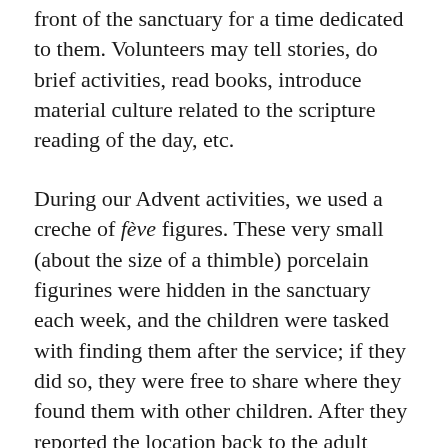front of the sanctuary for a time dedicated to them. Volunteers may tell stories, do brief activities, read books, introduce material culture related to the scripture reading of the day, etc.
During our Advent activities, we used a creche of feve figures. These very small (about the size of a thimble) porcelain figurines were hidden in the sanctuary each week, and the children were tasked with finding them after the service; if they did so, they were free to share where they found them with other children. After they reported the location back to the adult leading children's time, they were rewarded with a small figurine of the focus of that day's story. These were created by painting different figures (an angel, Mary, Joseph, and baby Jesus) on small stones sealed with Modge Podge. It took me about 2 hours to paint 30 4-figure sets.